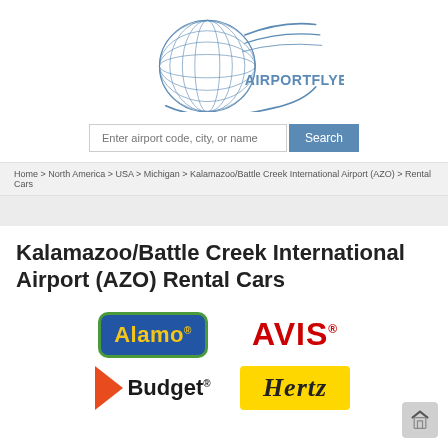[Figure (logo): AirportFlyer.com globe logo with swoosh lines and text AIRPORTFLYER.COM]
Enter airport code, city, or name
Search
Home > North America > USA > Michigan > Kalamazoo/Battle Creek International Airport (AZO) > Rental Cars
Kalamazoo/Battle Creek International Airport (AZO) Rental Cars
[Figure (logo): Alamo rental car logo — blue rectangle with green border and yellow text]
[Figure (logo): AVIS rental car logo — red bold text]
[Figure (logo): Budget rental car logo — orange triangle with Budget text]
[Figure (logo): Hertz rental car logo — italic text on yellow background]